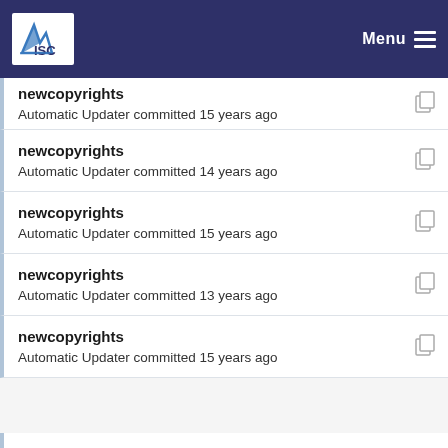ISC Menu
newcopyrights
Automatic Updater committed 15 years ago
newcopyrights
Automatic Updater committed 14 years ago
newcopyrights
Automatic Updater committed 15 years ago
newcopyrights
Automatic Updater committed 13 years ago
newcopyrights
Automatic Updater committed 15 years ago
newcopyrights
Automatic Updater committed 13 years ago
newcopyrights
Automatic Updater committed 13 years ago